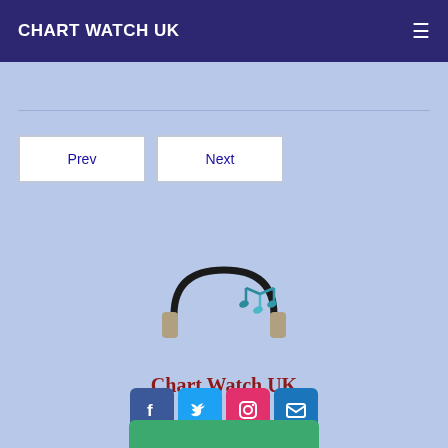CHART WATCH UK
Prev
Next
[Figure (logo): Chart Watch UK logo with headphones and music notes, with text 'Chart Watch UK' below]
[Figure (infographic): Social media icons: Facebook, Twitter, Instagram, Email]